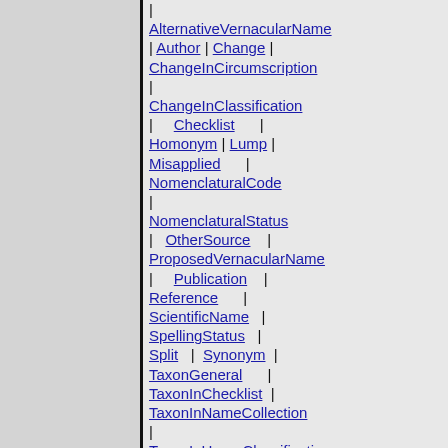| AlternativeVernacularName | Author | Change | ChangeInCircumscription | ChangeInClassification | Checklist | Homonym | Lump | Misapplied | NomenclaturalCode | NomenclaturalStatus | OtherSource | ProposedVernacularName | Publication | Reference | ScientificName | SpellingStatus | Split | Synonym | TaxonGeneral | TaxonInChecklist | TaxonInNameCollection | TaxonInUpperClassification |